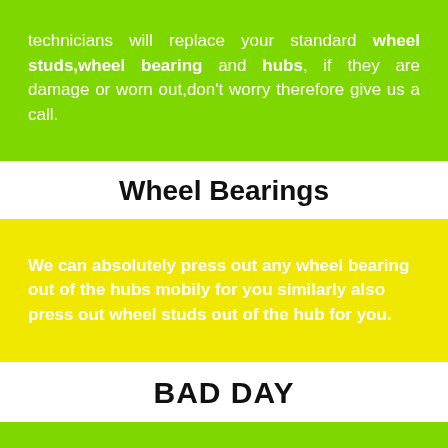technicians will replace your standard wheel studs,wheel bearing and hubs, if they are damage or worn out,don't worry therefore give us a call.
Wheel Bearings
We can absolutely press out any wheel bearing out of the hubs mobily for you similarly also press out wheel studs out of the hub for you.
BAD DAY
Bad day with your car or van tyres, undoubtedly Real deal mobile tyre will absolutely make your motor vehicle problems indeed stress free.